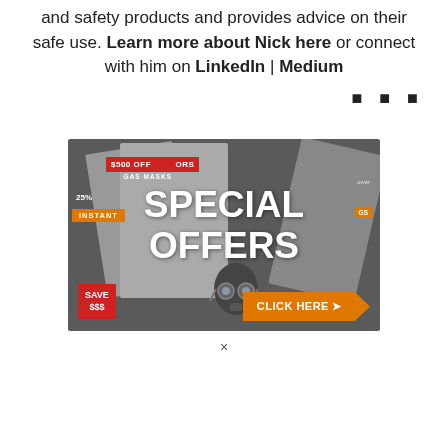and safety products and provides advice on their safe use. Learn more about Nick here or connect with him on LinkedIn | Medium
■ ■ ■
[Figure (illustration): Advertisement banner showing stacked promotional cards with text: $500 OFF, GAS MASKS ORS, 25% off, INSTANT, with central overlay text SPECIAL OFFERS in white, a SAVE $$$ red box bottom left, and an orange CLICK HERE arrow bottom right. Dark gray background with a gas mask image.]
×